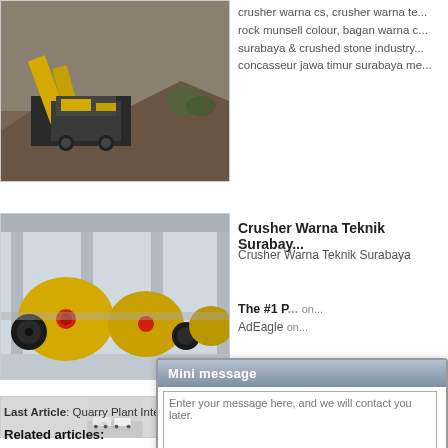[Figure (photo): Outdoor crusher/mining plant equipment with yellow machinery and excavated terrain]
crusher warna cs, crusher warna te... rock munsell colour, bagan warna c... surabaya & crushed stone industry... concasseur jawa timur surabaya me...
[Figure (photo): Industrial yellow ball mill drums in a factory/warehouse setting]
Crusher Warna Teknik Surabay...
Crusher Warna Teknik Surabaya
[Figure (photo): White/light colored mobile crusher machines with LIMIN branding on snowy or quarry ground]
The #1 P... | on...
AdEagle | on...
Last Article: Quarry Plant International   Nex... | C...
Related articles:
[Figure (screenshot): Mini message popup widget with text area, email field, phone field, Email Us and Send buttons]